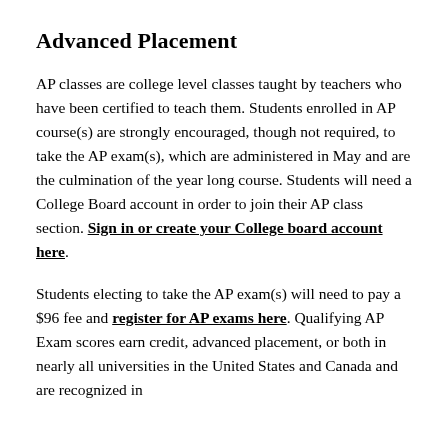Advanced Placement
AP classes are college level classes taught by teachers who have been certified to teach them. Students enrolled in AP course(s) are strongly encouraged, though not required, to take the AP exam(s), which are administered in May and are the culmination of the year long course. Students will need a College Board account in order to join their AP class section. Sign in or create your College board account here.
Students electing to take the AP exam(s) will need to pay a $96 fee and register for AP exams here. Qualifying AP Exam scores earn credit, advanced placement, or both in nearly all universities in the United States and Canada and are recognized in